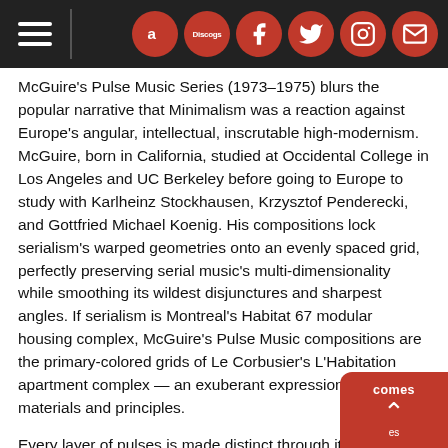Navigation bar with hamburger menu and social/store icons (Amazon, Discogs, Facebook, Twitter, Instagram, Mail)
McGuire's Pulse Music Series (1973-1975) blurs the popular narrative that Minimalism was a reaction against Europe's angular, intellectual, inscrutable high-modernism. McGuire, born in California, studied at Occidental College in Los Angeles and UC Berkeley before going to Europe to study with Karlheinz Stockhausen, Krzysztof Penderecki, and Gottfried Michael Koenig. His compositions lock serialism's warped geometries onto an evenly spaced grid, perfectly preserving serial music's multi-dimensionality while smoothing its wildest disjunctures and sharpest angles. If serialism is Montreal's Habitat 67 modular housing complex, McGuire's Pulse Music compositions are the primary-colored grids of Le Corbusier's L'Habitation apartment complex — an exuberant expression of the same materials and principles.
Every layer of pulses is made distinct through its timbre, register, and tempo. We hear them as a plurality, organized like stars in the sky. Every so often the sky rotates and the stars appear in a different arrangement. Our ear naturally starts to draw connections and, as it sweeps between one layer and another, what was discrete becomes continuous. Pulses become flows; quantitative reality becomes qualitative experience.